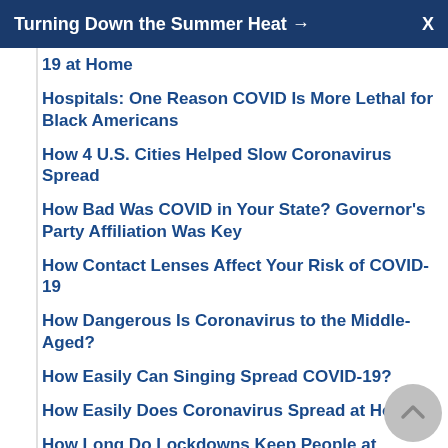Turning Down the Summer Heat →   X
19 at Home
Hospitals: One Reason COVID Is More Lethal for Black Americans
How 4 U.S. Cities Helped Slow Coronavirus Spread
How Bad Was COVID in Your State? Governor's Party Affiliation Was Key
How Contact Lenses Affect Your Risk of COVID-19
How Dangerous Is Coronavirus to the Middle-Aged?
How Easily Can Singing Spread COVID-19?
How Easily Does Coronavirus Spread at Home?
How Long Do Lockdowns Keep People at Home?
How Many Days Do COVID Antibodies Stick Around?
How Moving the Homeless to Hotels During the Pandemic Helps Everyone